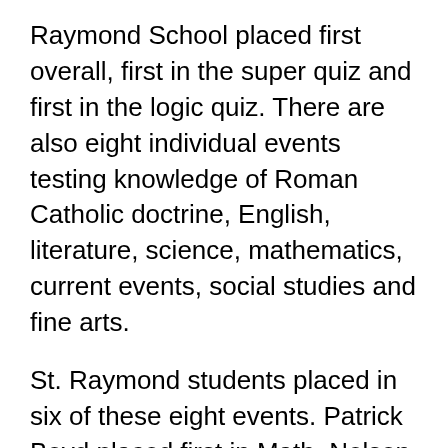Raymond School placed first overall, first in the super quiz and first in the logic quiz. There are also eight individual events testing knowledge of Roman Catholic doctrine, English, literature, science, mathematics, current events, social studies and fine arts.
St. Raymond students placed in six of these eight events. Patrick Boyd placed first in Math, Nelson Harris placed first in Social Studies, Kara Merkert placed first in Fine Arts, Milun Kalidindi placed second in Religion, Will Avina placed third in Current Events and Kate Ward placed third in Science.
The team pictured here before shelter-in-place order: Back row, left to right: Milun Kalindindi, Dylan Chu, Adam Karr, Will Avina, Nelson Harris